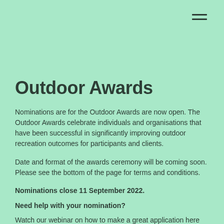[Figure (other): Hamburger menu icon (three horizontal lines) in top right corner]
Outdoor Awards
Nominations are for the Outdoor Awards are now open. The Outdoor Awards celebrate individuals and organisations that have been successful in significantly improving outdoor recreation outcomes for participants and clients.
Date and format of the awards ceremony will be coming soon. Please see the bottom of the page for terms and conditions.
Nominations close 11 September 2022.
Need help with your nomination?
Watch our webinar on how to make a great application here